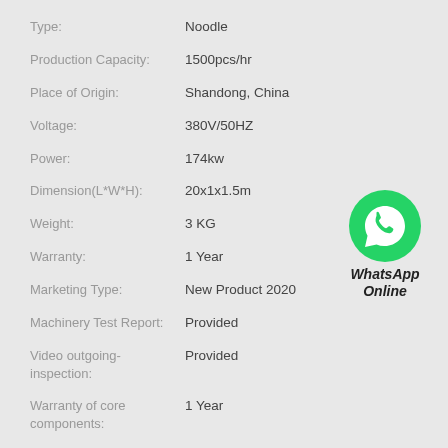| Field | Value |
| --- | --- |
| Type: | Noodle |
| Production Capacity: | 1500pcs/hr |
| Place of Origin: | Shandong, China |
| Voltage: | 380V/50HZ |
| Power: | 174kw |
| Dimension(L*W*H): | 20x1x1.5m |
| Weight: | 3 KG |
| Warranty: | 1 Year |
| Marketing Type: | New Product 2020 |
| Machinery Test Report: | Provided |
| Video outgoing-inspection: | Provided |
| Warranty of core components: | 1 Year |
[Figure (logo): WhatsApp green circle logo with phone icon and text 'WhatsApp Online']